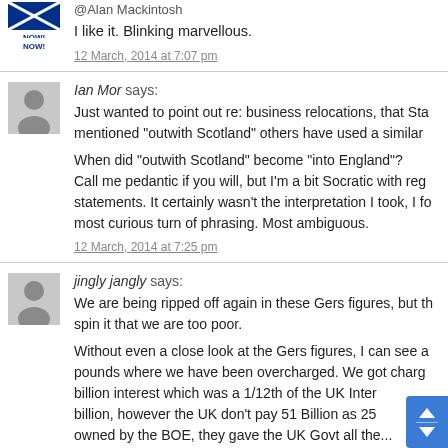@Alan Mackintosh
I like it. Blinking marvellous.
12 March, 2014 at 7:07 pm
Ian Mor says:
Just wanted to point out re: business relocations, that Sta... mentioned “outwith Scotland” others have used a similar...
When did “outwith Scotland” become “into England”? Call me pedantic if you will, but I’m a bit Socratic with reg... statements. It certainly wasn’t the interpretation I took, I fo... most curious turn of phrasing. Most ambiguous.
12 March, 2014 at 7:25 pm
jingly jangly says:
We are being ripped off again in these Gers figures, but th... spin it that we are too poor.
Without even a close look at the Gers figures, I can see a... pounds where we have been overcharged. We got charg... billion interest which was a 1/12th of the UK Inter... billion, however the UK don’t pay 51 Billion as 25... owned by the BOE, they gave the UK Govt all the...